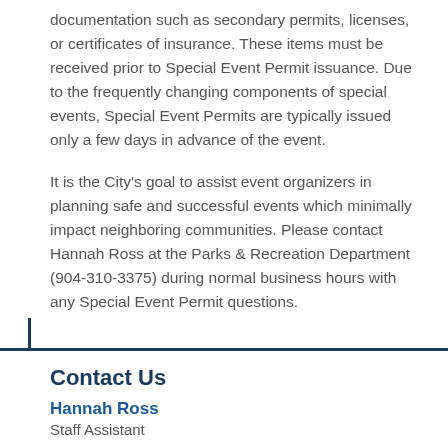documentation such as secondary permits, licenses, or certificates of insurance. These items must be received prior to Special Event Permit issuance. Due to the frequently changing components of special events, Special Event Permits are typically issued only a few days in advance of the event.
It is the City's goal to assist event organizers in planning safe and successful events which minimally impact neighboring communities. Please contact Hannah Ross at the Parks & Recreation Department (904-310-3375) during normal business hours with any Special Event Permit questions.
Contact Us
Hannah Ross
Staff Assistant